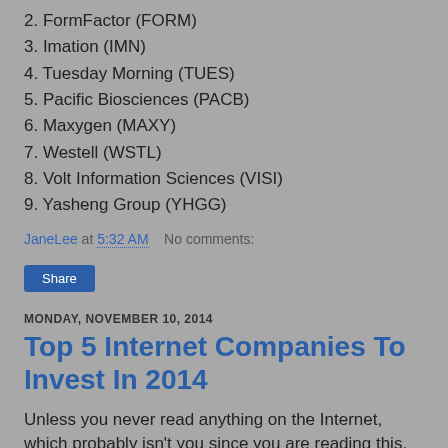2. FormFactor (FORM)
3. Imation (IMN)
4. Tuesday Morning (TUES)
5. Pacific Biosciences (PACB)
6. Maxygen (MAXY)
7. Westell (WSTL)
8. Volt Information Sciences (VISI)
9. Yasheng Group (YHGG)
JaneLee at 5:32 AM   No comments:
Share
MONDAY, NOVEMBER 10, 2014
Top 5 Internet Companies To Invest In 2014
Unless you never read anything on the Internet, which probably isn't you since you are reading this, you are aware of bitcoins. And you may have heard the news that bitcoins